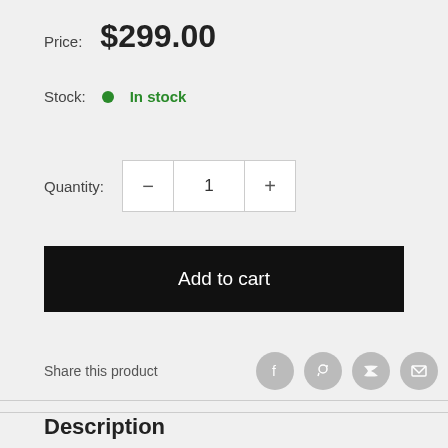Price: $299.00
Stock: In stock
Quantity: − 1 +
Add to cart
Share this product
Description